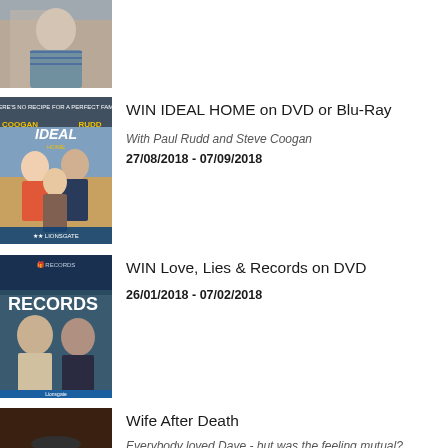[Figure (photo): Partial view of a person in plaid shirt outdoors]
[Figure (photo): DVD cover of Ideal Home with Paul Rudd and Steve Coogan]
WIN IDEAL HOME on DVD or Blu-Ray
With Paul Rudd and Steve Coogan
27/08/2018 - 07/09/2018
[Figure (photo): DVD cover of Love, Lies & Records showing two women]
WIN Love, Lies & Records on DVD
26/01/2018 - 07/02/2018
[Figure (photo): Scene from Wife After Death showing a woman at a table]
Wife After Death
Everybody loved Dave - but was the feeling mutual?
01/11/2019 - 09/11/2019
[Figure (photo): Matt Hollywood's Illusions Magic Show promotional image]
Matt Hollywood's Illusions Magic Show
01/12/2014 - 30/01/2015